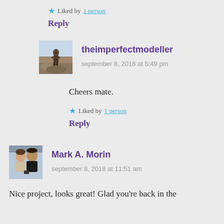★ Liked by 1 person
Reply
[Figure (photo): Avatar photo of theimperfectmodeller - a miniature figurine on rocky terrain]
theimperfectmodeller
september 8, 2018 at 5:49 pm
Cheers mate.
★ Liked by 1 person
Reply
[Figure (photo): Avatar photo of Mark A. Morin - two people posing for a photo]
Mark A. Morin
september 8, 2018 at 11:51 am
Nice project, looks great! Glad you're back in the